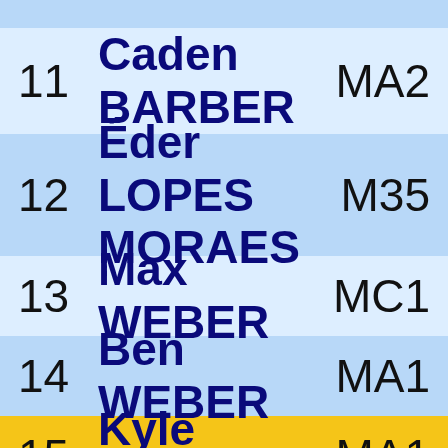| # | Name | Category |
| --- | --- | --- |
| 11 | Caden BARBER | MA2 |
| 12 | Éder LOPES MORAES | M35 |
| 13 | Max WEBER | MC1 |
| 14 | Ben WEBER | MA1 |
| 15 | Kyle BLOOD | MA1 |